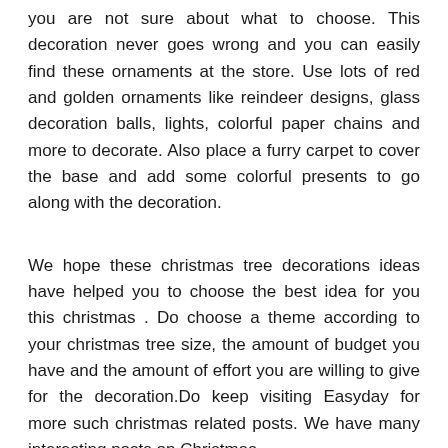you are not sure about what to choose. This decoration never goes wrong and you can easily find these ornaments at the store. Use lots of red and golden ornaments like reindeer designs, glass decoration balls, lights, colorful paper chains and more to decorate. Also place a furry carpet to cover the base and add some colorful presents to go along with the decoration.
We hope these christmas tree decorations ideas have helped you to choose the best idea for you this christmas . Do choose a theme according to your christmas tree size, the amount of budget you have and the amount of effort you are willing to give for the decoration.Do keep visiting Easyday for more such christmas related posts. We have many interesting posts on Christmas .